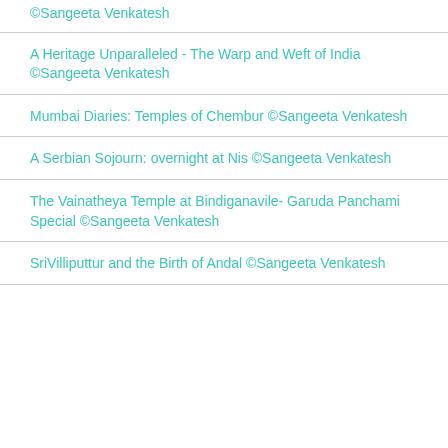©Sangeeta Venkatesh
A Heritage Unparalleled - The Warp and Weft of India ©Sangeeta Venkatesh
Mumbai Diaries: Temples of Chembur ©Sangeeta Venkatesh
A Serbian Sojourn: overnight at Nis ©Sangeeta Venkatesh
The Vainatheya Temple at Bindiganavile- Garuda Panchami Special ©Sangeeta Venkatesh
SriVilliputtur and the Birth of Andal ©Sangeeta Venkatesh